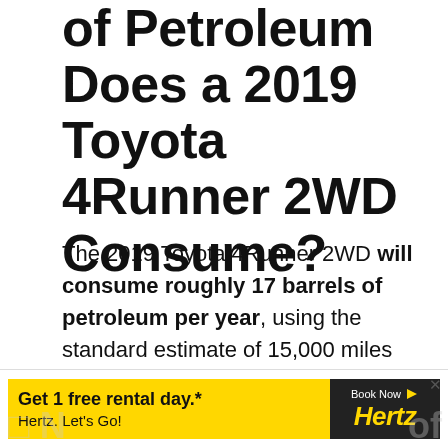of Petroleum Does a 2019 Toyota 4Runner 2WD Consume?
The 2019 Toyota 4Runner 2WD will consume roughly 17 barrels of petroleum per year, using the standard estimate of 15,000 miles per year.
The majority of the world's petroleum is sourced from countries like Saudi Arabia, Russia, Iraq, and the United States.
[Figure (other): Advertisement banner for Hertz car rental. Yellow background with text 'Get 1 free rental day.*' and 'Hertz. Let's Go!' alongside a dark box with 'Book Now' arrow button and Hertz logo in gold italic text.]